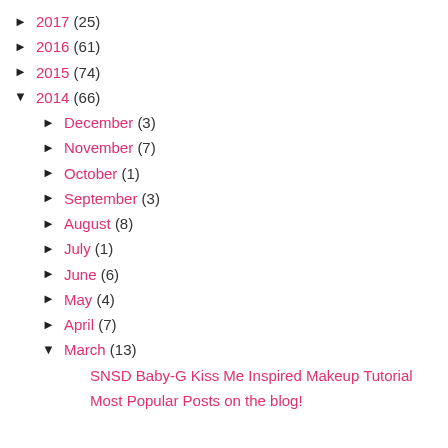► 2017 (25)
► 2016 (61)
► 2015 (74)
▼ 2014 (66)
► December (3)
► November (7)
► October (1)
► September (3)
► August (8)
► July (1)
► June (6)
► May (4)
► April (7)
▼ March (13)
SNSD Baby-G Kiss Me Inspired Makeup Tutorial
Most Popular Posts on the blog!